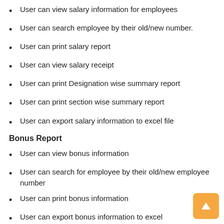User can view salary information for employees
User can search employee by their old/new number.
User can print salary report
User can view salary receipt
User can print Designation wise summary report
User can print section wise summary report
User can export salary information to excel file
Bonus Report
User can view bonus information
User can search for employee by their old/new employee number
User can print bonus information
User can export bonus information to excel
User can print bonus summary report
Earn Leave Encashment Report
User can view report for earned leave encashment